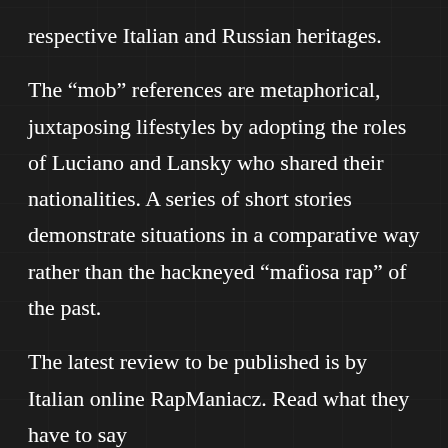respective Italian and Russian heritages.
The “mob” references are metaphorical, juxtaposing lifestyles by adopting the roles of Luciano and Lansky who shared their nationalities. A series of short stories demonstrate situations in a comparative way rather than the hackneyed “mafiosa rap” of the past.
The latest review to be published is by Italian online RapManiacz. Read what they have to say HERE